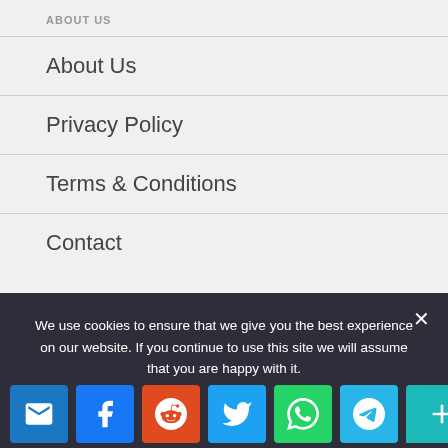ABOUT US
About Us
Privacy Policy
Terms & Conditions
Contact
CATEGORIES
Blog
Education
We use cookies to ensure that we give you the best experience on our website. If you continue to use this site we will assume that you are happy with it.
[Figure (infographic): Social sharing icons row: email (blue), Facebook (blue), Reddit (orange-red), Twitter (blue), WhatsApp (green), Telegram (light blue), plus/more (teal)]